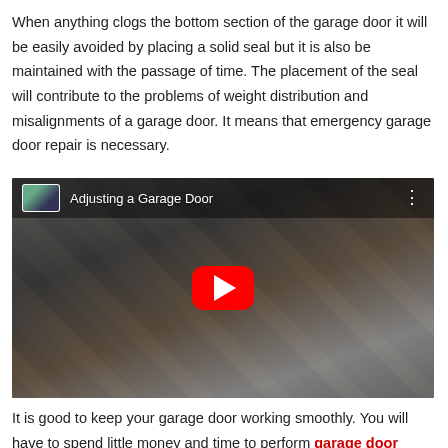When anything clogs the bottom section of the garage door it will be easily avoided by placing a solid seal but it is also be maintained with the passage of time. The placement of the seal will contribute to the problems of weight distribution and misalignments of a garage door. It means that emergency garage door repair is necessary.
[Figure (screenshot): YouTube video thumbnail titled 'Adjusting a Garage Door' showing a person in camouflage clothing adjusting a garage door spring mechanism, with a red YouTube play button in the center.]
It is good to keep your garage door working smoothly. You will have to spend little money and time to perform garage door